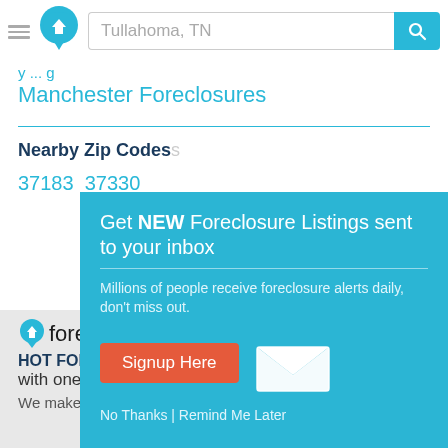Tullahoma, TN [search bar with logo]
y ... g
Manchester Foreclosures
Nearby Zip Codes
37183  37330
[Figure (screenshot): Modal popup: Get NEW Foreclosure Listings sent to your inbox. Millions of people receive foreclosure alerts daily, don't miss out. Signup Here button. No Thanks | Remind Me Later links.]
foreclosure.com
HOT FORECLOSUR...
with one simple search
We make buying foreclosures simple.